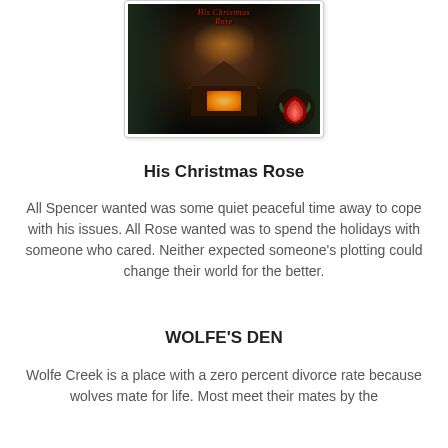[Figure (illustration): Book cover for 'His Christmas Rose' showing a snow-covered cabin in winter woods at night with glowing windows and a red rose in the bottom right corner]
His Christmas Rose
All Spencer wanted was some quiet peaceful time away to cope with his issues. All Rose wanted was to spend the holidays with someone who cared. Neither expected someone's plotting could change their world for the better.
WOLFE'S DEN
Wolfe Creek is a place with a zero percent divorce rate because wolves mate for life. Most meet their mates by the